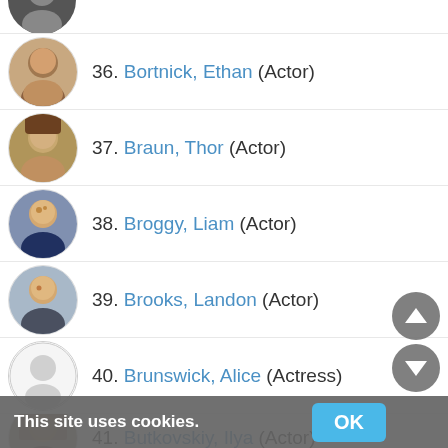36. Bortnick, Ethan (Actor)
37. Braun, Thor (Actor)
38. Broggy, Liam (Actor)
39. Brooks, Landon (Actor)
40. Brunswick, Alice (Actress)
41. Butkovskiy, Ilya (Actor)
This site uses cookies.